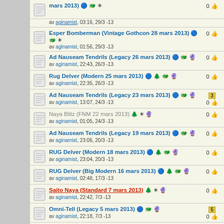mars 2013) av aginamist, 03:16, 29/3 -13 | 0
Esper Bomberman (Vintage Gothcon 28 mars 2013) av aginamist, 01:56, 29/3 -13 | 0
Ad Nauseam Tendrils (Legacy 26 mars 2013) av aginamist, 22:43, 26/3 -13 | 0
Rug Delver (Modern 25 mars 2013) av aginamist, 22:35, 26/3 -13 | 0
Ad Nauseam Tendrils (Legacy 23 mars 2013) av aginamist, 13:07, 24/3 -13 | 0 [3]
Naya Blitz (FNM 22 mars 2013) av aginamist, 01:05, 24/3 -13 | 0
Ad Nauseam Tendrils (Legacy 19 mars 2013) av aginamist, 23:06, 20/3 -13 | 0
RUG Delver (Modern 18 mars 2013) av aginamist, 23:04, 20/3 -13 | 0
RUG Delver (Big Modern 16 mars 2013) av aginamist, 02:48, 17/3 -13 | 0
Saito Naya (Standard 7 mars 2013) av aginamist, 22:42, 7/3 -13 | 0
Omni-Tell (Legacy 5 mars 2013) av aginamist, 22:18, 7/3 -13 | 0 [5]